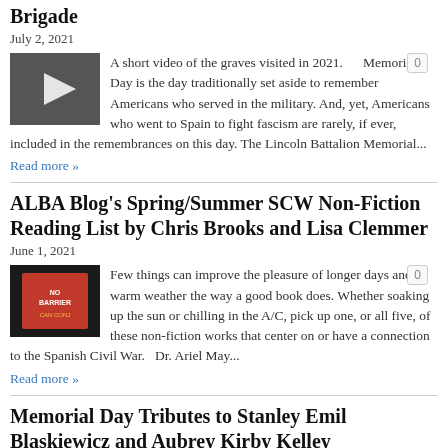Brigade
July 2, 2021
A short video of the graves visited in 2021. Memorial Day is the day traditionally set aside to remember Americans who served in the military. And, yet, Americans who went to Spain to fight fascism are rarely, if ever, included in the remembrances on this day. The Lincoln Battalion Memorial...
Read more »
ALBA Blog's Spring/Summer SCW Non-Fiction Reading List by Chris Brooks and Lisa Clemmer
June 1, 2021
Few things can improve the pleasure of longer days and warm weather the way a good book does. Whether soaking up the sun or chilling in the A/C, pick up one, or all five, of these non-fiction works that center on or have a connection to the Spanish Civil War.   Dr. Ariel May...
Read more »
Memorial Day Tributes to Stanley Emil Blaskiewicz and Aubrey Kirby Kelley
May 28, 2021